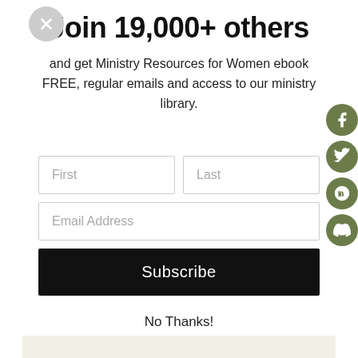Join 19,000+ others
and get Ministry Resources for Women ebook FREE, regular emails and access to our ministry library.
[Figure (screenshot): Email signup form with First name, Last name, Email Address fields, a Subscribe button, and a No Thanks link]
No Thanks!